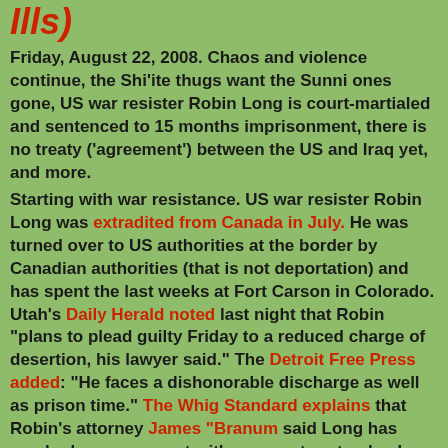Ills)
Friday, August 22, 2008. Chaos and violence continue, the Shi'ite thugs want the Sunni ones gone, US war resister Robin Long is court-martialed and sentenced to 15 months imprisonment, there is no treaty ('agreement') between the US and Iraq yet, and more.
Starting with war resistance. US war resister Robin Long was extradited from Canada in July. He was turned over to US authorities at the border by Canadian authorities (that is not deportation) and has spent the last weeks at Fort Carson in Colorado. Utah's Daily Herald noted last night that Robin "plans to plead guilty Friday to a reduced charge of desertion, his lawyer said." The Detroit Free Press added: "He faces a dishonorable discharge as well as prison time." The Whig Standard explains that Robin's attorney James "Branum said Long has reached an agreement with prosecutors to plead guilty to desertion with intent to remain away permanently, a lesser charge than desertion with intent to shirk hazardous duty." Nick Kyonka (Toronto Star) quotes Branam explaining, "In exchange for him pleading guilty, they've agreed to (lower) the three-year maximum sentence that usually comes with